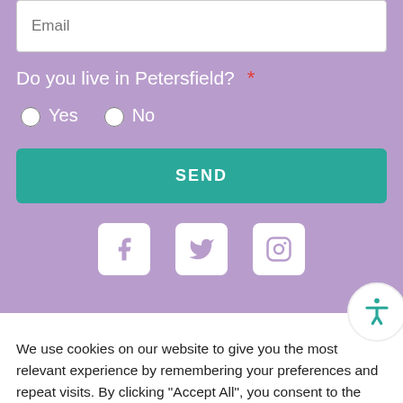Email
Do you live in Petersfield? *
Yes  No
SEND
[Figure (screenshot): Social media icons: Facebook, Twitter, Instagram in white rounded square boxes on purple background]
We use cookies on our website to give you the most relevant experience by remembering your preferences and repeat visits. By clicking "Accept All", you consent to the use of ALL the cookies. However, you may visit "Cookie Settings" to provide a controlled consent.
Cookie Settings
Accept All